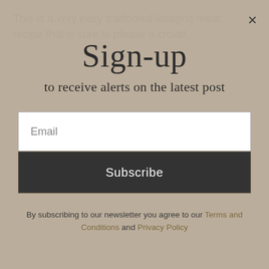This is a very easy traditional lasagna meat recipe that is sure to please a crowd.
Sign-up
to receive alerts on the latest post
Email
Subscribe
By subscribing to our newsletter you agree to our Terms and Conditions and Privacy Policy